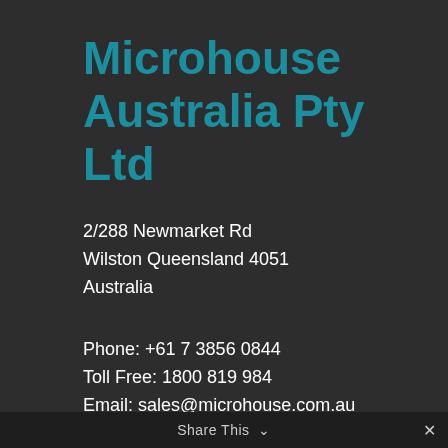Microhouse Australia Pty Ltd
2/288 Newmarket Rd
Wilston Queensland 4051
Australia
Phone: +61 7 3856 0844
Toll Free: 1800 819 984
Email: sales@microhouse.com.au
Microhouse New Zealand Ltd